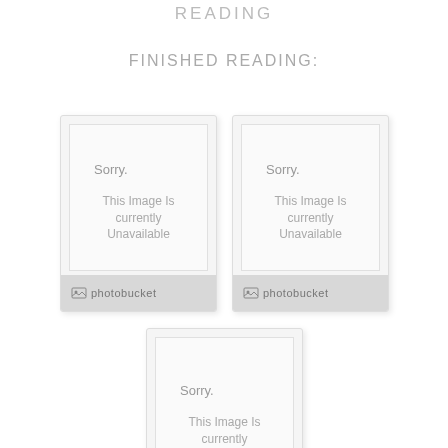READING
FINISHED READING:
[Figure (photo): Photobucket unavailable image placeholder - left]
[Figure (photo): Photobucket unavailable image placeholder - right]
[Figure (photo): Photobucket unavailable image placeholder - center bottom]